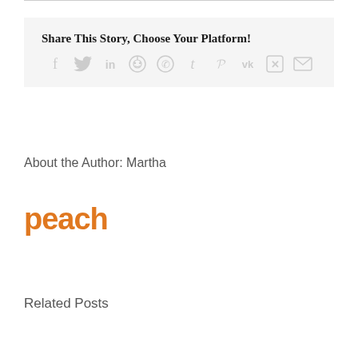Share This Story, Choose Your Platform!
[Figure (infographic): Social media share icons: Facebook, Twitter, LinkedIn, Reddit, WhatsApp, Tumblr, Pinterest, VK, Xing, Email]
About the Author: Martha
[Figure (logo): Peach logo in orange text]
Related Posts